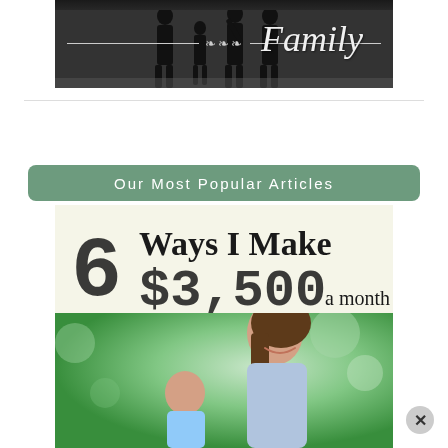[Figure (illustration): Grayscale banner with family silhouette and cursive 'Family' text with decorative ornament]
Our Most Popular Articles
[Figure (illustration): Article promo image: '6 Ways I Make $3,500 a month' with photo of smiling woman and child outdoors in green setting]